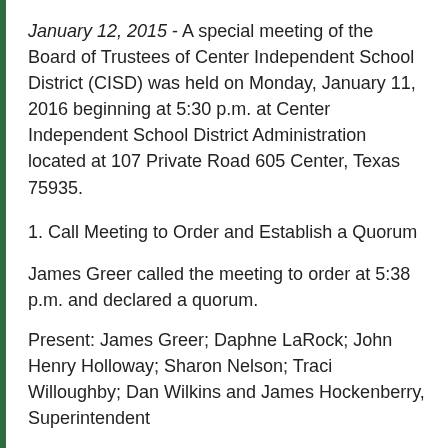January 12, 2015 - A special meeting of the Board of Trustees of Center Independent School District (CISD) was held on Monday, January 11, 2016 beginning at 5:30 p.m. at Center Independent School District Administration located at 107 Private Road 605 Center, Texas 75935.
1. Call Meeting to Order and Establish a Quorum
James Greer called the meeting to order at 5:38 p.m. and declared a quorum.
Present: James Greer; Daphne LaRock; John Henry Holloway; Sharon Nelson; Traci Willoughby; Dan Wilkins and James Hockenberry, Superintendent
Absent: None